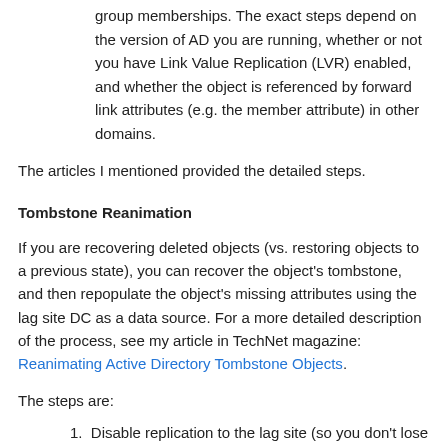group memberships. The exact steps depend on the version of AD you are running, whether or not you have Link Value Replication (LVR) enabled, and whether the object is referenced by forward link attributes (e.g. the member attribute) in other domains.
The articles I mentioned provided the detailed steps.
Tombstone Reanimation
If you are recovering deleted objects (vs. restoring objects to a previous state), you can recover the object's tombstone, and then repopulate the object's missing attributes using the lag site DC as a data source. For a more detailed description of the process, see my article in TechNet magazine: Reanimating Active Directory Tombstone Objects.
The steps are:
Disable replication to the lag site (so you don't lose your good replica).